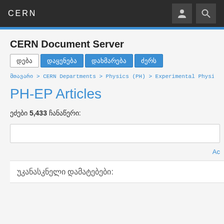CERN
CERN Document Server
დება  დაყენება  დახმარება  ძერს
მთავარი > CERN Departments > Physics (PH) > Experimental Physics Articles > PH-EP Articles
PH-EP Articles
ეძები 5,433 ჩანაწერი:
Ac
უკანასკნელი დამატებები: